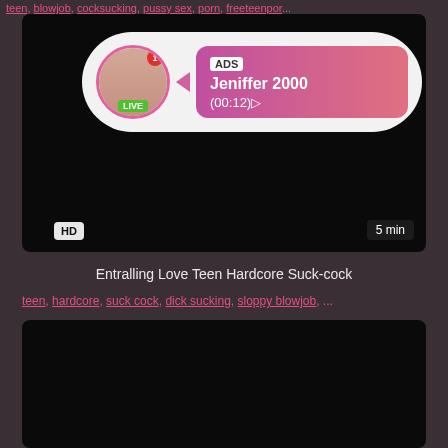teen, blowjob, cocksucking, pussy sex, porn, freeteenpor...
[Figure (screenshot): Video thumbnail with live ad overlay showing user Jeniffer 2000, HD badge, 5 min duration]
Entralling Love Teen Hardcore Suck-cock
teen, hardcore, suck cock, dick sucking, sloppy blowjob, ...
[Figure (screenshot): Second video thumbnail, dark/black content area]